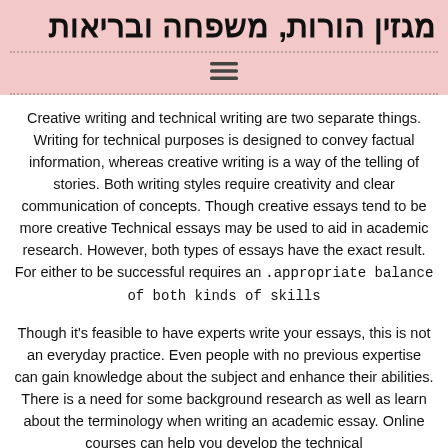מגזין הורות, משפחה ובריאות
Creative writing and technical writing are two separate things. Writing for technical purposes is designed to convey factual information, whereas creative writing is a way of the telling of stories. Both writing styles require creativity and clear communication of concepts. Though creative essays tend to be more creative Technical essays may be used to aid in academic research. However, both types of essays have the exact result. For either to be successful requires an appropriate balance of both kinds of skills.
Though it's feasible to have experts write your essays, this is not an everyday practice. Even people with no previous expertise can gain knowledge about the subject and enhance their abilities. There is a need for some background research as well as learn about the terminology when writing an academic essay. Online courses can help you develop the technical